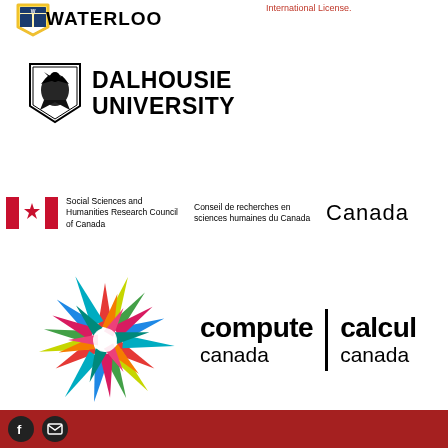[Figure (logo): University of Waterloo logo (partially visible) with shield and WATERLOO text]
International License.
[Figure (logo): Dalhousie University logo with eagle shield and DALHOUSIE UNIVERSITY text]
[Figure (logo): Social Sciences and Humanities Research Council of Canada / Conseil de recherches en sciences humaines du Canada logo with Canadian maple leaf flag icon and Canada wordmark]
[Figure (logo): Compute Canada / Calcul Canada logo with colorful starburst of triangular arrows and bilingual text]
Social media icons: Facebook and email